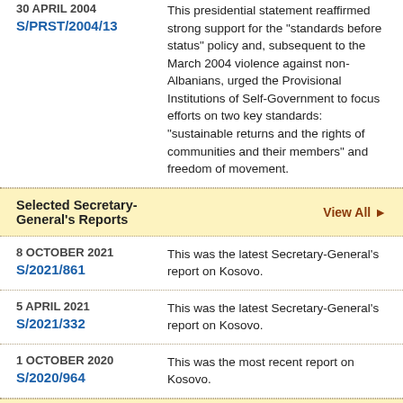30 APRIL 2004
S/PRST/2004/13
This presidential statement reaffirmed strong support for the "standards before status" policy and, subsequent to the March 2004 violence against non-Albanians, urged the Provisional Institutions of Self-Government to focus efforts on two key standards: "sustainable returns and the rights of communities and their members" and freedom of movement.
Selected Secretary-General's Reports
View All ▶
8 OCTOBER 2021
S/2021/861
This was the latest Secretary-General's report on Kosovo.
5 APRIL 2021
S/2021/332
This was the latest Secretary-General's report on Kosovo.
1 OCTOBER 2020
S/2020/964
This was the most recent report on Kosovo.
Selected Security Council Letters
View All ▶